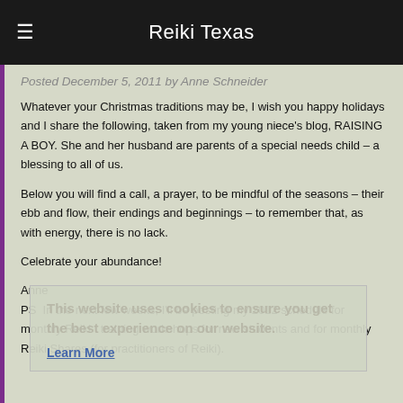Reiki Texas
Posted December 5, 2011 by Anne Schneider
Whatever your Christmas traditions may be, I wish you happy holidays and I share the following, taken from my young niece's blog, RAISING A BOY. She and her husband are parents of a special needs child – a blessing to all of us.
Below you will find a call, a prayer, to be mindful of the seasons – their ebb and flow, their endings and beginnings – to remember that, as with energy, there is no lack.
Celebrate your abundance!
Anne
PS  In the next few weeks, I'll be posting my 2012 schedule for monthly Reiki I training workshops for new students and for monthly Reiki Shares (for practitioners of Reiki).